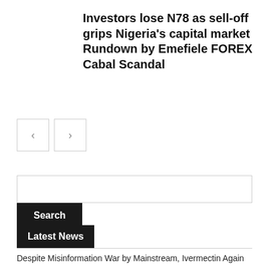Investors lose N78 as sell-off grips Nigeria's capital market Rundown by Emefiele FOREX Cabal Scandal
[Figure (other): Navigation buttons: left arrow and right arrow]
[Figure (other): Search input box and Search button]
Latest News
Despite Misinformation War by Mainstream, Ivermectin Again